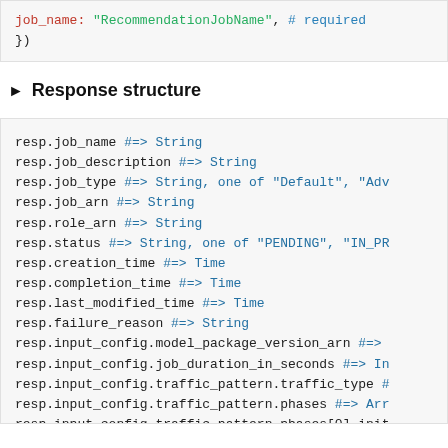job_name: "RecommendationJobName", # required
})
Response structure
resp.job_name #=> String
resp.job_description #=> String
resp.job_type #=> String, one of "Default", "Adv
resp.job_arn #=> String
resp.role_arn #=> String
resp.status #=> String, one of "PENDING", "IN_PR
resp.creation_time #=> Time
resp.completion_time #=> Time
resp.last_modified_time #=> Time
resp.failure_reason #=> String
resp.input_config.model_package_version_arn #=>
resp.input_config.job_duration_in_seconds #=> In
resp.input_config.traffic_pattern.traffic_type #
resp.input_config.traffic_pattern.phases #=> Arr
resp.input_config.traffic_pattern.phases[0].init
resp.input_config.traffic_pattern.phases[0].spaw
resp.input_config.traffic_pattern.phases[0].dura
resp.input_config.resource_limit.max_number_of_t